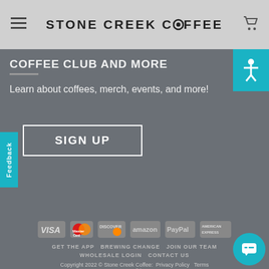Stone Creek Coffee
COFFEE CLUB AND MORE (partially visible)
Learn about coffees, merch, events, and more!
SIGN UP
Feedback
[Figure (other): Payment method logos: VISA, MasterCard, Discover, Amazon, PayPal, American Express]
GET THE APP   BREWING CHANGE   JOIN OUR TEAM   WHOLESALE LOGIN   CONTACT US
Copyright 2022 © Stone Creek Coffee:  Privacy Policy   Terms & Conditions